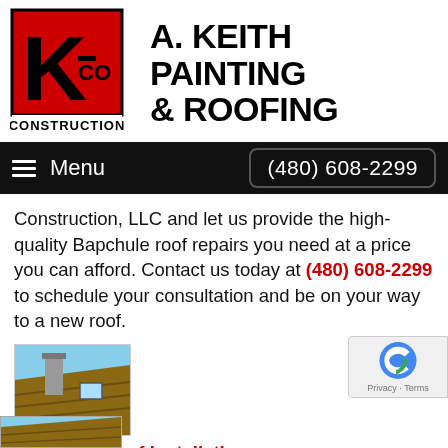[Figure (logo): K-CO Construction logo: red square background with large black letter K and 'CO' text, 'CONSTRUCTION' below in black on white]
A. KEITH PAINTING & ROOFING
Menu  (480) 608-2299
Construction, LLC and let us provide the high-quality Bapchule roof repairs you need at a price you can afford. Contact us today at (480) 608-2299 to schedule your consultation and be on your way to a new roof.
[Figure (photo): Thumbnail photo of a rooftop with workers or chimney visible, brown/dark roof tiles, blue sky]
Bapchule Roof Installation
When it's time to install a roof in Bapchule, leave the work to the professionals at K-CO Construction, LLC. Ca free quote at (480) 608-2299.
[Figure (photo): Partial bottom thumbnail photo of a roof, partially visible at page bottom]